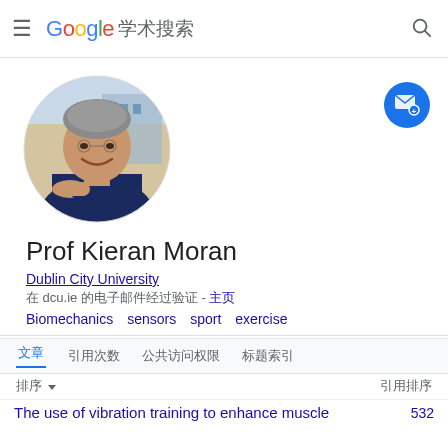Google 学术搜索
[Figure (photo): Circular profile photo of Prof Kieran Moran, a middle-aged man with grey hair wearing a dark navy shirt, arms crossed, smiling, with a building in the background.]
Prof Kieran Moran
Dublin City University
在 dcu.ie 的电子邮件经过验证 - 主页
Biomechanics   sensors   sport   exercise
文章   引用次数   公共访问权限   标题索引
排序   引用排序
The use of vibration training to enhance muscle
532